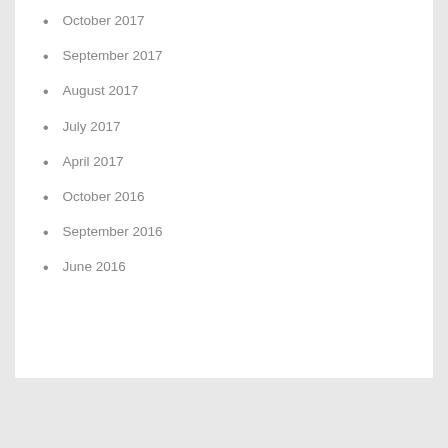October 2017
September 2017
August 2017
July 2017
April 2017
October 2016
September 2016
June 2016